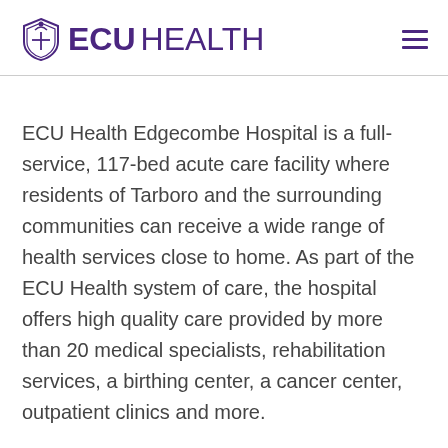ECU HEALTH
ECU Health Edgecombe Hospital is a full-service, 117-bed acute care facility where residents of Tarboro and the surrounding communities can receive a wide range of health services close to home. As part of the ECU Health system of care, the hospital offers high quality care provided by more than 20 medical specialists, rehabilitation services, a birthing center, a cancer center, outpatient clinics and more.